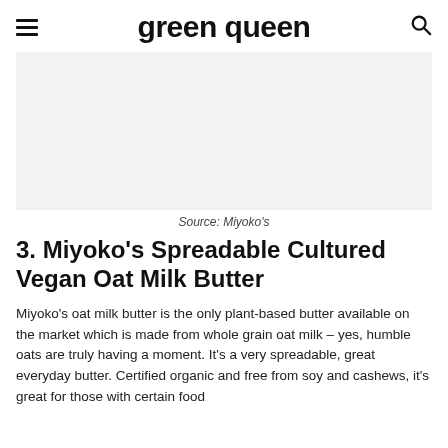green queen
[Figure (photo): Large image placeholder area with light gray background, source photo for Miyoko's product]
Source: Miyoko's
3. Miyoko's Spreadable Cultured Vegan Oat Milk Butter
Miyoko's oat milk butter is the only plant-based butter available on the market which is made from whole grain oat milk – yes, humble oats are truly having a moment. It's a very spreadable, great everyday butter. Certified organic and free from soy and cashews, it's great for those with certain food